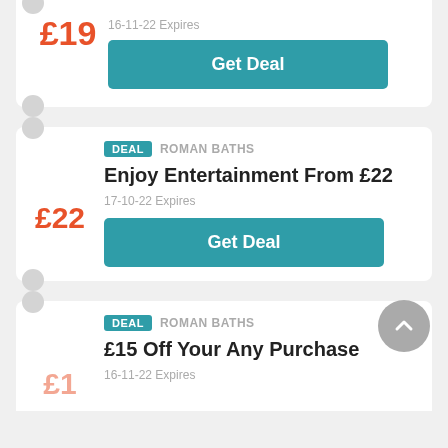£19
16-11-22 Expires
Get Deal
DEAL  ROMAN BATHS
Enjoy Entertainment From £22
£22
17-10-22 Expires
Get Deal
DEAL  ROMAN BATHS
£15 Off Your Any Purchase
16-11-22 Expires